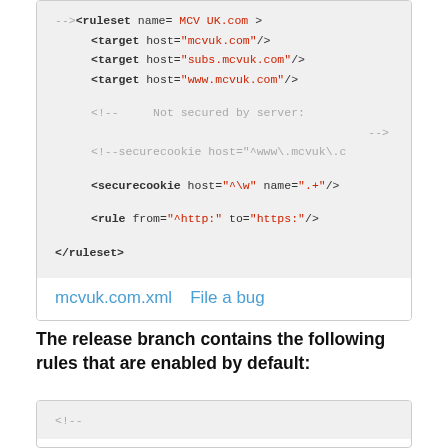--><ruleset name="MCV UK.com">
    <target host="mcvuk.com"/>
    <target host="subs.mcvuk.com"/>
    <target host="www.mcvuk.com"/>

    <!--    Not secured by server:
                                    -->
    <!--securecookie host="^www\.mcvuk\.c

    <securecookie host="^\w" name=".+"/>

    <rule from="^http:" to="https:"/>

</ruleset>
mcvuk.com.xml   File a bug
The release branch contains the following rules that are enabled by default:
<!--